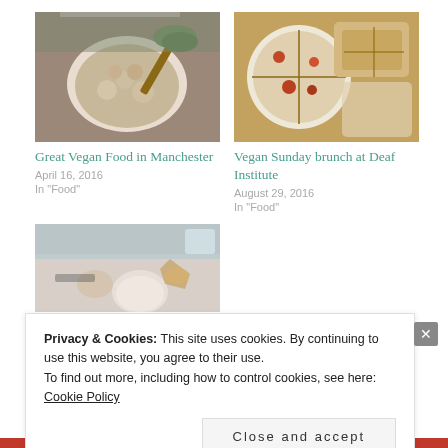[Figure (photo): Photo of a bowl of vegan food with mushrooms and broth, with herbs and a wooden spoon visible]
Great Vegan Food in Manchester
April 16, 2016
In "Food"
[Figure (photo): Overhead photo of vegan brunch dishes on a wooden table including pizza-style dish and other plates]
Vegan Sunday brunch at Deaf Institute
August 29, 2016
In "Food"
[Figure (photo): Close-up photo of a plate with a bread roll and vegetable garnish]
Privacy & Cookies: This site uses cookies. By continuing to use this website, you agree to their use.
To find out more, including how to control cookies, see here: Cookie Policy
Close and accept